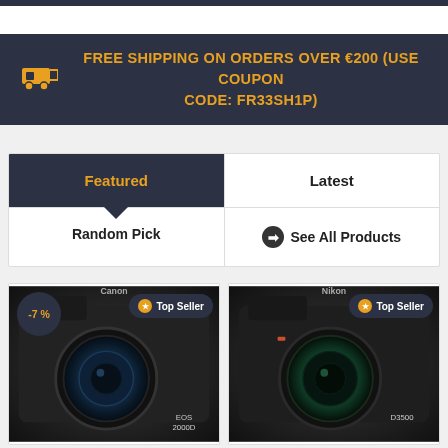FREE SHIPPING ON ORDERS OVER €200 (USE COUPON CODE: FR33SH1P)
| Featured | Latest |
| --- | --- |
| Random Pick | ➔ See All Products |
[Figure (photo): Canon EOS 2000D DSLR camera with -7% discount badge and Top Seller badge]
[Figure (photo): Nikon D3500 DSLR camera with Top Seller badge]